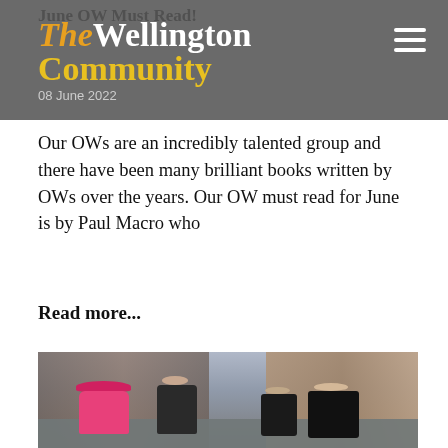The Wellington Community
08 June 2022
June OW Must Read!
Our OWs are an incredibly talented group and there have been many brilliant books written by OWs over the years. Our OW must read for June is by Paul Macro who
Read more...
[Figure (photo): A woman in a bright pink coat and hat (Queen Elizabeth II) walking through a colonnade corridor, accompanied by a young woman in dark clothing, with several other people in dark formal attire visible on the right side greeting them. The setting appears to be an institutional or school building with brick and stone architecture.]